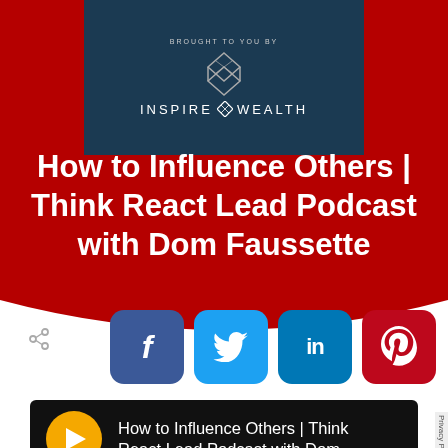[Figure (logo): Inspire Wealth logo on dark blue background with hourglass icon and text 'BROUGHT TO YOU BY' above]
How to Influence Others | Think React Lead Podcast with Dom Faussette
[Figure (infographic): Share icon and social media buttons: Facebook (blue), Twitter (light blue), LinkedIn (dark blue), Pinterest (red)]
[Figure (screenshot): Audio player with yellow play button showing 'How to Influence Others | Think React Lead Podcast with Dom...' and Privacy Policy label]